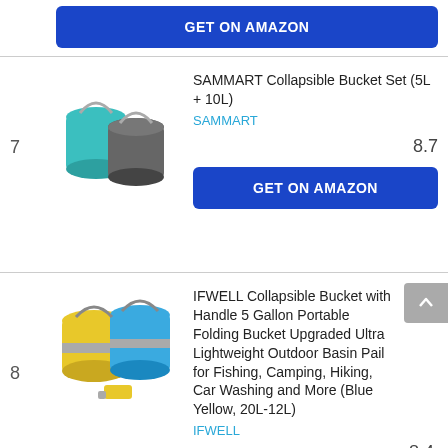[Figure (other): Blue 'GET ON AMAZON' button at top of page]
SAMMART Collapsible Bucket Set (5L + 10L)
SAMMART
7
[Figure (photo): Two collapsible buckets (teal/blue and dark grey) with handles]
8.7
GET ON AMAZON
IFWELL Collapsible Bucket with Handle 5 Gallon Portable Folding Bucket Upgraded Ultra Lightweight Outdoor Basin Pail for Fishing, Camping, Hiking, Car Washing and More (Blue Yellow, 20L-12L)
IFWELL
8
[Figure (photo): Two collapsible buckets, one yellow/grey and one blue, with accessories]
8.4